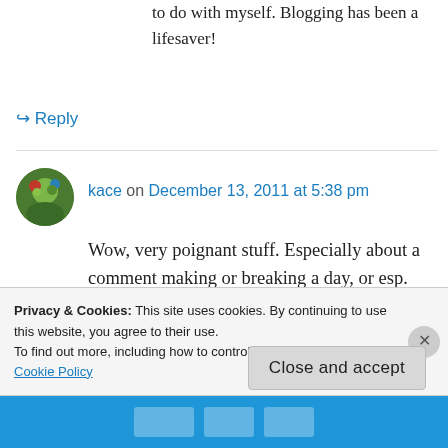to do with myself. Blogging has been a lifesaver!
↳ Reply
kace on December 13, 2011 at 5:38 pm
Wow, very poignant stuff. Especially about a comment making or breaking a day, or esp. about kind of glossing over the negative stuff to present a certain image. Things I've thought about a lot.... thanks for putting it all
Privacy & Cookies: This site uses cookies. By continuing to use this website, you agree to their use.
To find out more, including how to control cookies, see here: Cookie Policy
Close and accept